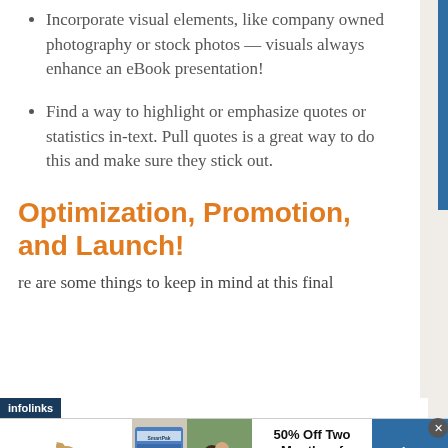Incorporate visual elements, like company owned photography or stock photos — visuals always enhance an eBook presentation!
Find a way to highlight or emphasize quotes or statistics in-text. Pull quotes is a great way to do this and make sure they stick out.
Optimization, Promotion, and Launch!
re are some things to keep in mind at this final
[Figure (other): SmartPak advertisement banner: 50% Off Two Months of ColiCare, ColiCare Eligible Supplements, CODE: COLICARE10, with horse photo and SmartPak logo, Shop Now button]